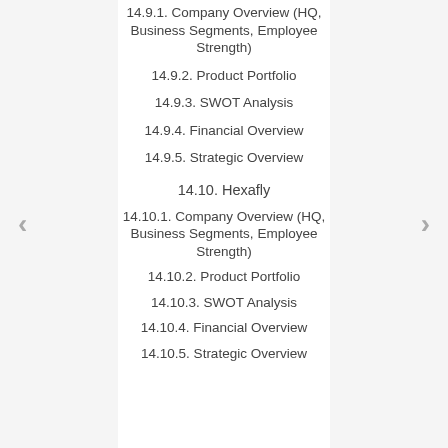14.9.1. Company Overview (HQ, Business Segments, Employee Strength)
14.9.2. Product Portfolio
14.9.3. SWOT Analysis
14.9.4. Financial Overview
14.9.5. Strategic Overview
14.10. Hexafly
14.10.1. Company Overview (HQ, Business Segments, Employee Strength)
14.10.2. Product Portfolio
14.10.3. SWOT Analysis
14.10.4. Financial Overview
14.10.5. Strategic Overview